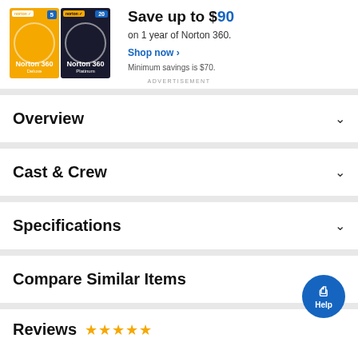[Figure (advertisement): Norton 360 advertisement banner showing Norton 360 Deluxe and Platinum product boxes side by side]
Save up to $90 on 1 year of Norton 360.
Shop now ›
Minimum savings is $70.
ADVERTISEMENT
Overview
Cast & Crew
Specifications
Compare Similar Items
Reviews
[Figure (other): Help chat button (blue circle with chat icon and Help text)]